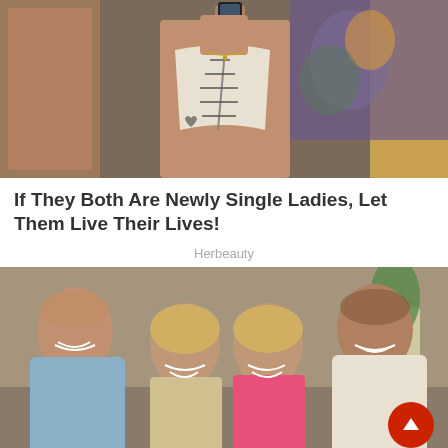[Figure (photo): Woman in white corset taking a mirror selfie, with colorful tattoo art visible in background]
If They Both Are Newly Single Ladies, Let Them Live Their Lives!
Herbeauty
[Figure (photo): Group photo of two men and two blonde women smiling together indoors]